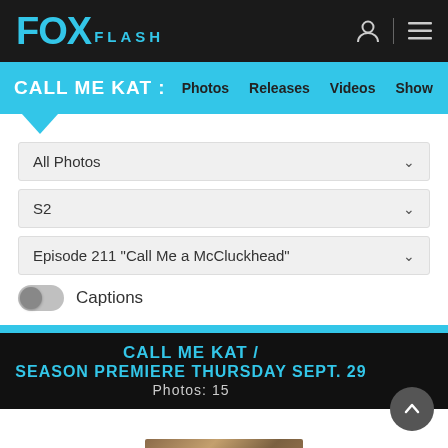FOX FLASH
CALL ME KAT : Photos  Releases  Videos  Show
All Photos
S2
Episode 211 "Call Me a McCluckhead"
Captions
CALL ME KAT / SEASON PREMIERE THURSDAY SEPT. 29 Photos: 15
[Figure (photo): Thumbnail image at bottom of page showing a scene from Call Me Kat]